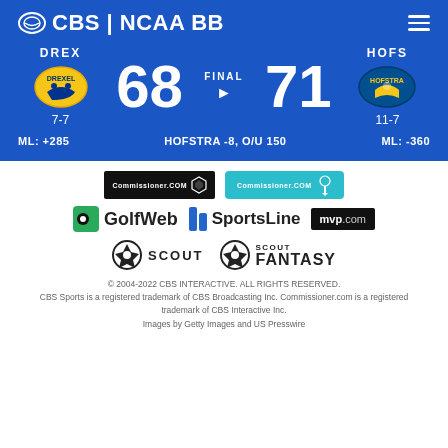CBS | NCAA BB
DREX 68 FINAL 71 HOFS
7-7 / 11-7
ML: +285  HOFSTRA -8, O/U 150  ML: -360
[Figure (logo): Commissioner.com black logo and Commissioner.com teal logo]
[Figure (logo): GolfWeb logo, SportsLine logo, mvp.com logo]
[Figure (logo): Scout logo and Scout Fantasy logo]
© 2004-2022 CBS INTERACTIVE. ALL RIGHTS RESERVED. CBS Sports is a registered trademark of CBS Broadcasting Inc. Commissioner.com is a registered trademark of CBS Interactive Inc. Images by Getty Images and US Presswire